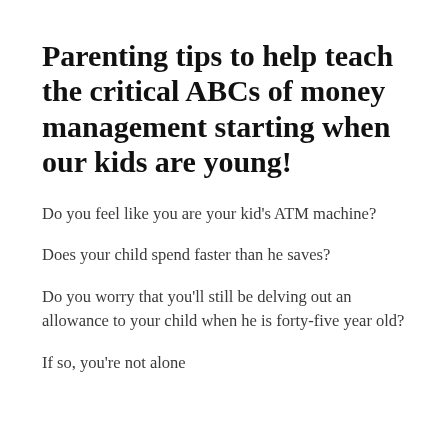Parenting tips to help teach the critical ABCs of money management starting when our kids are young!
Do you feel like you are your kid's ATM machine?
Does your child spend faster than he saves?
Do you worry that you'll still be delving out an allowance to your child when he is forty-five year old?
If so, you're not alone